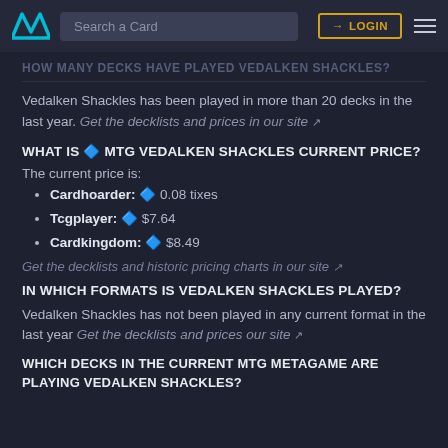Search a Card | LOGIN
HOW MANY DECKS HAVE PLAYED VEDALKEN SHACKLES?
Vedalken Shackles has been played in more than 20 decks in the last year. Get the decklists and prices in our site ↗
WHAT IS 🔷 MTG VEDALKEN SHACKLES CURRENT PRICE?
The current price is:
Cardhoarder: 🔷 0.08 tixes
Tcgplayer: 🔷 $7.64
Cardkingdom: 🔷 $8.49
Get the decklists and historic pricing charts in our site ↗
IN WHICH FORMATS IS VEDALKEN SHACKLES PLAYED?
Vedalken Shackles has not been played in any current format in the last year Get the decklists and prices our site ↗
WHICH DECKS IN THE CURRENT MTG METAGAME ARE PLAYING VEDALKEN SHACKLES?